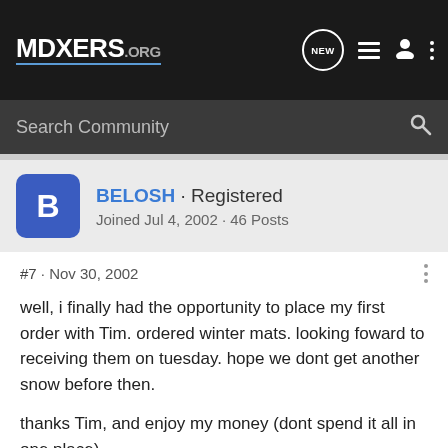MDXERS.ORG
Search Community
BELOSH · Registered
Joined Jul 4, 2002 · 46 Posts
#7 · Nov 30, 2002
well, i finally had the opportunity to place my first order with Tim. ordered winter mats. looking foward to receiving them on tuesday. hope we dont get another snow before then.

thanks Tim, and enjoy my money (dont spend it all in one place).
2003 Red Rock Touring- arrived and joyously wonderful!!